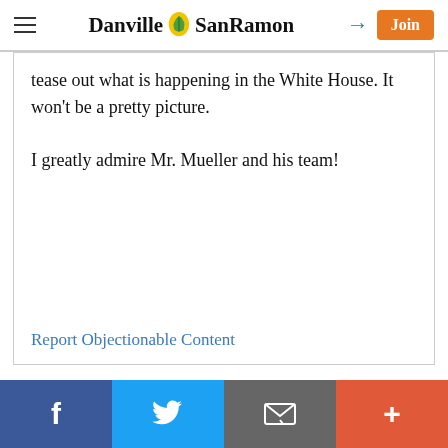Danville SanRamon
tease out what is happening in the White House. It won't be a pretty picture.

I greatly admire Mr. Mueller and his team!
Report Objectionable Content
Posted by Resident, a resident of Laguna Oaks, on Feb 3, 2018 at 2:05 pm
f  Twitter  Email  +